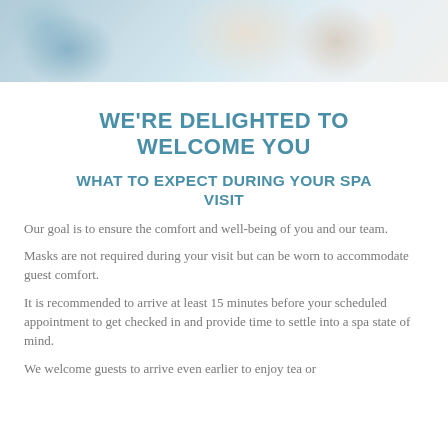[Figure (photo): A person in a white spa robe sitting in a light blue chair, with a decorative vase in the background, in a spa or lounge setting.]
WE'RE DELIGHTED TO WELCOME YOU
WHAT TO EXPECT DURING YOUR SPA VISIT
Our goal is to ensure the comfort and well-being of you and our team.
Masks are not required during your visit but can be worn to accommodate guest comfort.
It is recommended to arrive at least 15 minutes before your scheduled appointment to get checked in and provide time to settle into a spa state of mind.
We welcome guests to arrive even earlier to enjoy tea or